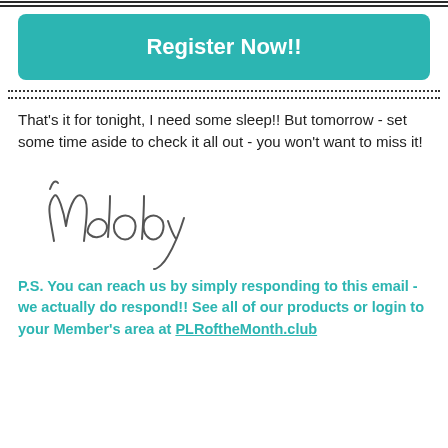[Figure (other): Horizontal double black rule line across top of page]
Register Now!!
[Figure (other): Two rows of dotted lines as a divider]
That's it for tonight, I need some sleep!! But tomorrow - set some time aside to check it all out - you won't want to miss it!
[Figure (illustration): Handwritten cursive signature reading 'Melody']
P.S. You can reach us by simply responding to this email - we actually do respond!! See all of our products or login to your Member's area at PLRoftheMonth.club